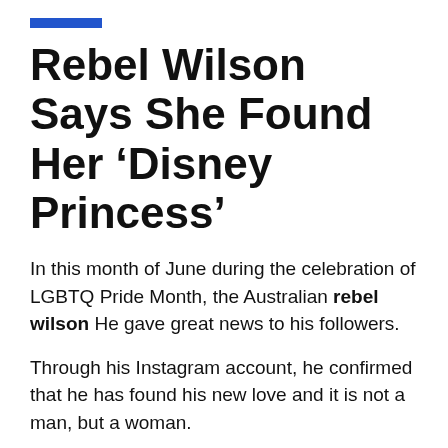Rebel Wilson Says She Found Her ‘Disney Princess’
In this month of June during the celebration of LGBTQ Pride Month, the Australian rebel wilson He gave great news to his followers.
Through his Instagram account, he confirmed that he has found his new love and it is not a man, but a woman.
The actress, who has only publicly dated men, revealed that she had been looking for her Prince Charming but found a Disney princess.